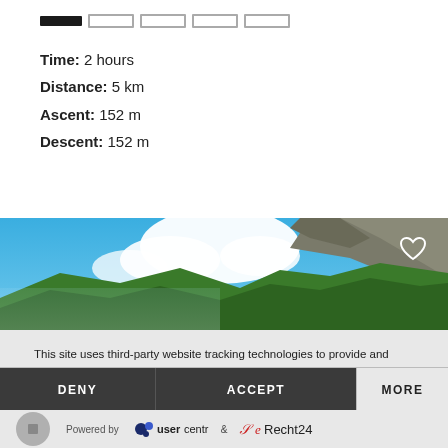[Figure (other): Progress bar with one filled segment and four empty segments]
Time: 2 hours
Distance: 5 km
Ascent: 152 m
Descent: 152 m
[Figure (photo): Mountain landscape with blue sky and white clouds, green forested mountain slope on right, heart/favorite icon in top right corner]
This site uses third-party website tracking technologies to provide and continually improve our services, and to display advertisements according to users' interests. I agree and may revoke or change my consent at any time with effect for the future.
[Figure (other): Cookie consent buttons: DENY (dark), ACCEPT (dark), MORE (light)]
Powered by usercentrics & eRecht24